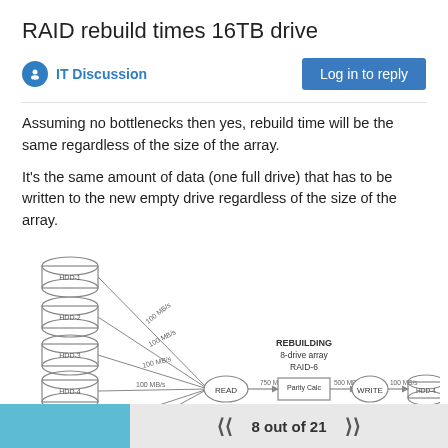RAID rebuild times 16TB drive
IT Discussion
Log in to reply
Assuming no bottlenecks then yes, rebuild time will be the same regardless of the size of the array.
It's the same amount of data (one full drive) that has to be written to the new empty drive regardless of the size of the array.
[Figure (engineering-diagram): RAID-6 rebuild diagram showing 8-drive array. Six source drives (HDD-1 through HDD-6) each with labeled read speeds feed into a READ node, which connects via 750 MB/s to a Parity Calc node, then 500 MB/s to WRITE node, then 100 MB/s to HDD-4 (replacement drive). Text labels: REBUILDING, 8-drive array, RAID-6.]
8 out of 21